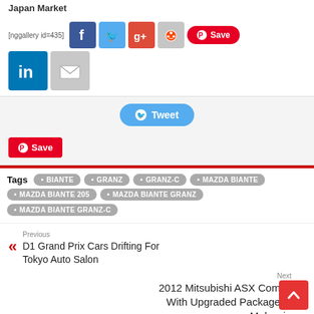Japan Market
[nggallery id=435]
[Figure (screenshot): Social share buttons: Facebook, Twitter, Google+, Reddit, Pinterest Save, LinkedIn, Email]
[Figure (screenshot): Tweet button and Pinterest Save button]
Tags  • BIANTE  • GRANZ  • GRANZ-C  • MAZDA BIANTE  • MAZDA BIANTE 205  • MAZDA BIANTE GRANZ  • MAZDA BIANTE GRANZ-C
Previous
D1 Grand Prix Cars Drifting For Tokyo Auto Salon
Next
2012 Mitsubishi ASX Comes With Upgraded Package in Malaysia